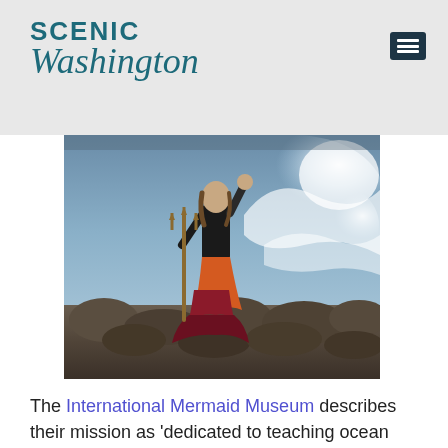SCENIC Washington
[Figure (photo): Person dressed as a mermaid/sea creature costume with a trident, standing on rocks with large ocean waves crashing behind them.]
The International Mermaid Museum describes their mission as 'dedicated to teaching ocean ecology from seashore to sea floor' using mermaid mythology that's common across all cultures. Here you'll find